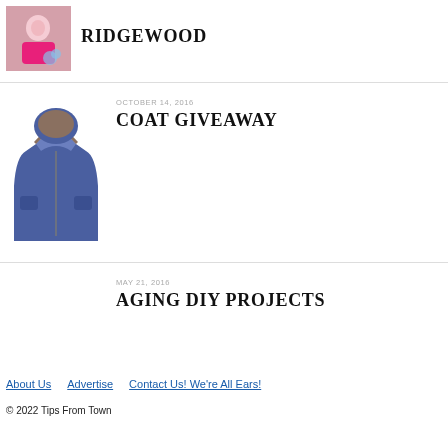[Figure (photo): Girl in pink top holding shoes, beach background]
RIDGEWOOD
[Figure (photo): Blue child's winter coat with fur-trimmed hood]
OCTOBER 14, 2016
COAT GIVEAWAY
MAY 21, 2016
AGING DIY PROJECTS
About Us   Advertise   Contact Us! We're All Ears!
© 2022 Tips From Town